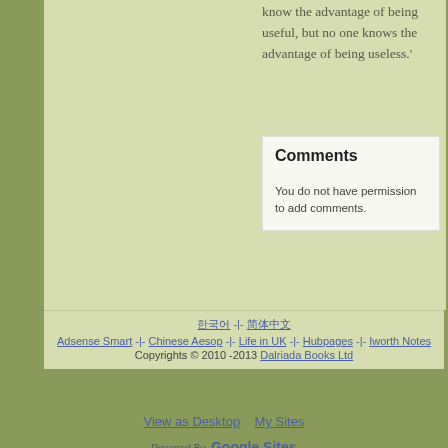know the advantage of being useful, but no one knows the advantage of being useless.'
Comments
You do not have permission to add comments.
한국어 -|- 简体中文 Adsense Smart -|- Chinese Aesop -|- Life in UK -|- Hubpages -|- Iworth Notes Copyrights © 2010 -2013 Dalriada Books Ltd
View as Desktop   My Sites
Powered By Google Sites